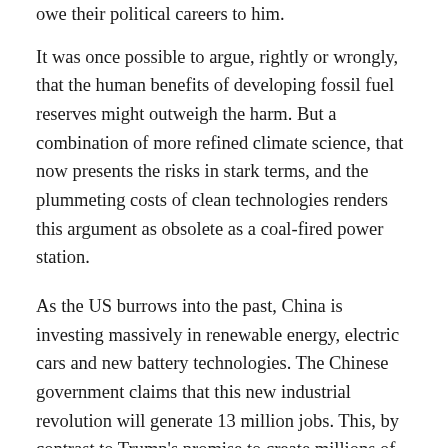owe their political careers to him.
It was once possible to argue, rightly or wrongly, that the human benefits of developing fossil fuel reserves might outweigh the harm. But a combination of more refined climate science, that now presents the risks in stark terms, and the plummeting costs of clean technologies renders this argument as obsolete as a coal-fired power station.
As the US burrows into the past, China is investing massively in renewable energy, electric cars and new battery technologies. The Chinese government claims that this new industrial revolution will generate 13 million jobs. This, by contrast to Trump's promise to create millions of jobs through reanimating coal, at least has a chance of materialising. It's not just that returning to an old technology when better ones are available is difficult; it's also that coal mining has been automated to the extent